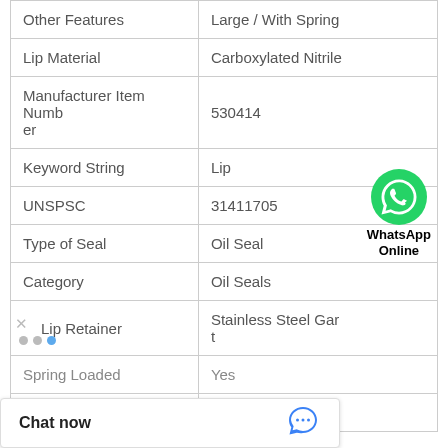| Property | Value |
| --- | --- |
| Other Features | Large / With Spring |
| Lip Material | Carboxylated Nitrile |
| Manufacturer Item Number | 530414 |
| Keyword String | Lip |
| UNSPSC | 31411705 |
| Type of Seal | Oil Seal |
| Category | Oil Seals |
| Lip Retainer | Stainless Steel Gart |
| Spring Loaded | Yes |
|  | 4.25 Inch / 869.9 |